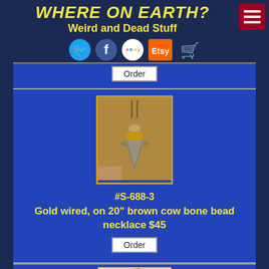WHERE ON EARTH? Weird and Dead Stuff
[Figure (screenshot): Social media icons: Twitter bird, Facebook F, eBay logo, Etsy logo, shopping cart]
Order
[Figure (photo): Shark tooth pendant on brown cow bone bead necklace, held by hand against tan background, with gold wire wrap]
#S-688-3
Gold wired, on 20" brown cow bone bead necklace  $45
Order
[Figure (photo): Shark tooth pendant with green wire wrap held in palm of hand]